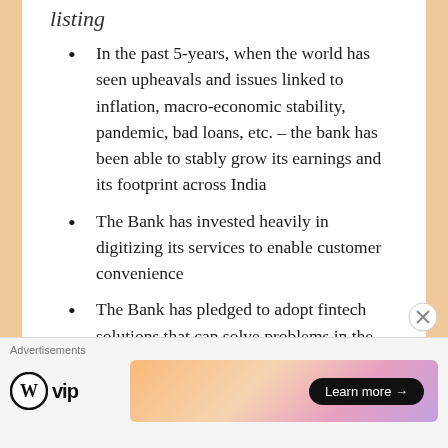listing
In the past 5-years, when the world has seen upheavals and issues linked to inflation, macro-economic stability, pandemic, bad loans, etc. – the bank has been able to stably grow its earnings and its footprint across India
The Bank has invested heavily in digitizing its services to enable customer convenience
The Bank has pledged to adopt fintech solutions that can solve problems in the real world
HDFC – HDFC Bank is set to undergo a merger in the next 12–24 months (depending on approvals) to become a combined entity that will offer
Advertisements
[Figure (logo): WordPress VIP logo with circle W icon and 'vip' text, alongside a gradient advertisement banner with a 'Learn more →' button]